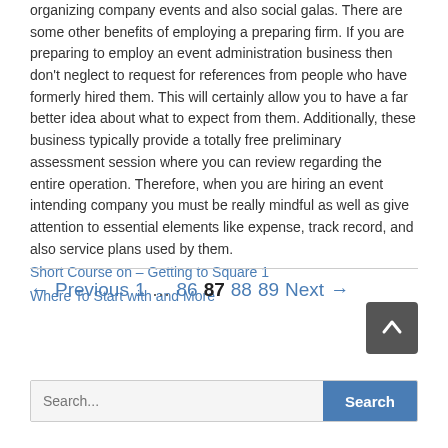organizing company events and also social galas. There are some other benefits of employing a preparing firm. If you are preparing to employ an event administration business then don't neglect to request for references from people who have formerly hired them. This will certainly allow you to have a far better idea about what to expect from them. Additionally, these business typically provide a totally free preliminary assessment session where you can review regarding the entire operation. Therefore, when you are hiring an event intending company you must be really mindful as well as give attention to essential elements like expense, track record, and also service plans used by them.
Short Course on – Getting to Square 1
Where To Start with and More
← Previous 1 … 86 87 88 89 Next →
Search...